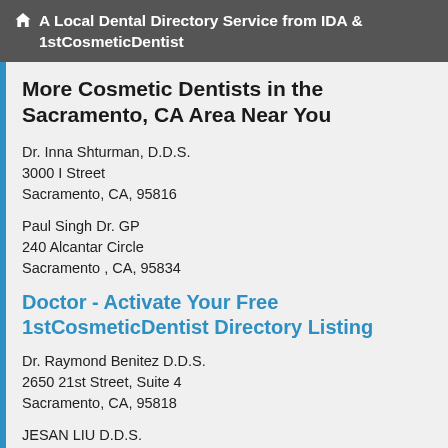A Local Dental Directory Service from IDA & 1stCosmeticDentist
More Cosmetic Dentists in the Sacramento, CA Area Near You
Dr. Inna Shturman, D.D.S.
3000 I Street
Sacramento, CA, 95816
Paul Singh Dr. GP
240 Alcantar Circle
Sacramento , CA, 95834
Doctor - Activate Your Free 1stCosmeticDentist Directory Listing
Dr. Raymond Benitez D.D.S.
2650 21st Street, Suite 4
Sacramento, CA, 95818
JESAN LIU D.D.S.
5665 FREEPORT BLVD STE 4
SACRAMENTO, CA, 95822